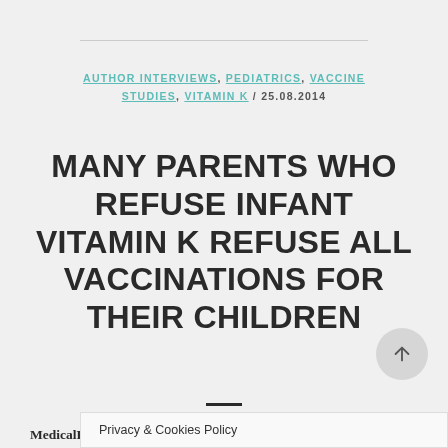AUTHOR INTERVIEWS, PEDIATRICS, VACCINE STUDIES, VITAMIN K / 25.08.2014
MANY PARENTS WHO REFUSE INFANT VITAMIN K REFUSE ALL VACCINATIONS FOR THEIR CHILDREN
MedicalResearch.com interview with: Dr. Shannon MacDonald PhD Department of Pediatrics, University of Calgary, Calgary and Faculty of Nursing, University of Alberta, Edmonton, Alber...